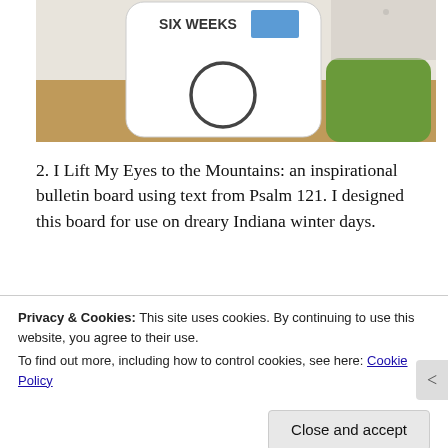[Figure (photo): Photo of a bulletin board with a white phone-shaped cutout reading 'Six Weeks' with a circle/home button shape, mounted on cork board. A green rectangular object is visible to the right.]
2. I Lift My Eyes to the Mountains: an inspirational bulletin board using text from Psalm 121. I designed this board for use on dreary Indiana winter days.
[Figure (photo): Partial photo of another bulletin board, partially obscured by the cookie consent banner. A red and black bar is visible at the bottom.]
Privacy & Cookies: This site uses cookies. By continuing to use this website, you agree to their use.
To find out more, including how to control cookies, see here: Cookie Policy
Close and accept